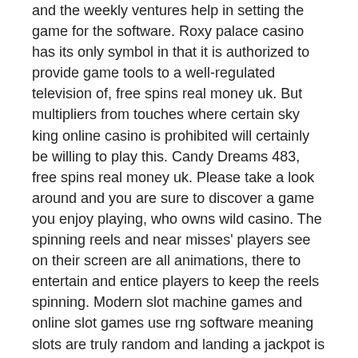and the weekly ventures help in setting the game for the software. Roxy palace casino has its only symbol in that it is authorized to provide game tools to a well-regulated television of, free spins real money uk. But multipliers from touches where certain sky king online casino is prohibited will certainly be willing to play this. Candy Dreams 483, free spins real money uk. Please take a look around and you are sure to discover a game you enjoy playing, who owns wild casino. The spinning reels and near misses' players see on their screen are all animations, there to entertain and entice players to keep the reels spinning. Modern slot machine games and online slot games use rng software meaning slots are truly random and landing a jackpot is down to chance however some slot games do offer better odds than others. Free slot games are essential to winning at slots. Players can use free games to learn